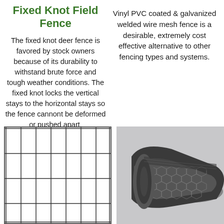Fixed Knot Field Fence
The fixed knot deer fence is favored by stock owners because of its durability to withstand brute force and tough weather conditions. The fixed knot locks the vertical stays to the horizontal stays so the fence cannont be deformed or pushed apart.
Vinyl PVC coated & galvanized welded wire mesh fence is a desirable, extremely cost effective alternative to other fencing types and systems.
[Figure (illustration): Wire mesh fence grid diagram showing rectangular grid pattern with vertical and horizontal wires]
[Figure (photo): Photo of a rolled-up dark hexagonal wire mesh fence roll]